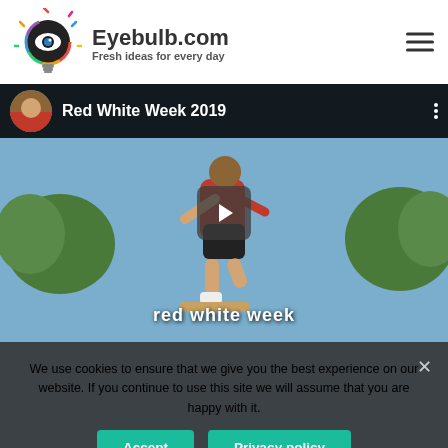Eyebulb.com – Fresh ideas for every day
[Figure (screenshot): Video player showing 'Red White Week 2019' with a skateboarder mid-air, play button overlay, and 'red white week' caption text]
We use cookies to ensure that we give you the best experience on our website. If you continue to use this site we will assume that you are happy with it.
Accept | Privacy policy